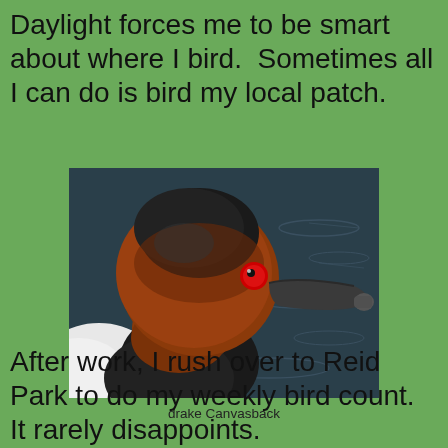Daylight forces me to be smart about where I bird.  Sometimes all I can do is bird my local patch.
[Figure (photo): Close-up photo of a drake Canvasback duck with a distinctive rust-red/brown head and red eye, dark bill, and dark chest feathers. The duck appears to be on dark water.]
drake Canvasback
After work, I rush over to Reid Park to do my weekly bird count.  It rarely disappoints.